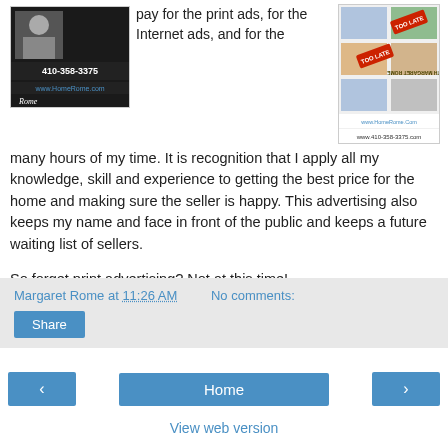[Figure (photo): Advertisement photo of Margaret Rome with phone number 410-358-3375 and website www.HomeRome.com]
pay for the print ads, for the Internet ads, and for the many hours of my time. It is recognition that I apply all my knowledge, skill and experience to getting the best price for the home and making sure the seller is happy. This advertising also keeps my name and face in front of the public and keeps a future waiting list of sellers.
[Figure (photo): Magazine or newspaper page showing real estate listings with 'TOO LATE' stamps, www.HomeRome.Com and 410-358-3375]
So forget print advertising? Not at this time!
Margaret Rome at 11:26 AM   No comments:
Share
‹
Home
›
View web version